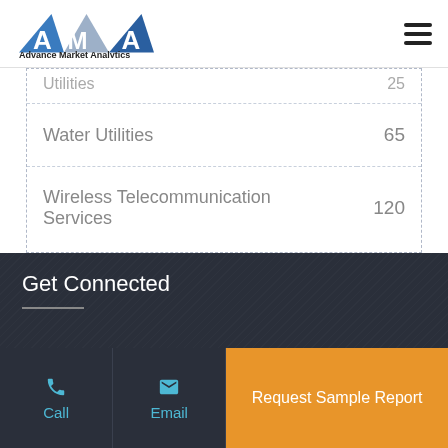Advance Market Analytics
| Category | Value |
| --- | --- |
| Utilities | 25 |
| Water Utilities | 65 |
| Wireless Telecommunication Services | 120 |
Get Connected
Call | Email | Request Sample Report